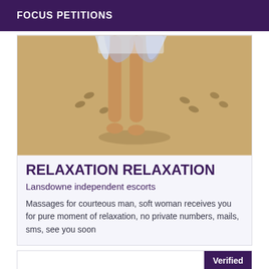FOCUS PETITIONS
[Figure (photo): Person's legs and feet walking barefoot on a sandy beach, wearing a light blue/white dress, with footprints visible in the sand around them.]
RELAXATION RELAXATION
Lansdowne independent escorts
Massages for courteous man, soft woman receives you for pure moment of relaxation, no private numbers, mails, sms, see you soon
Verified